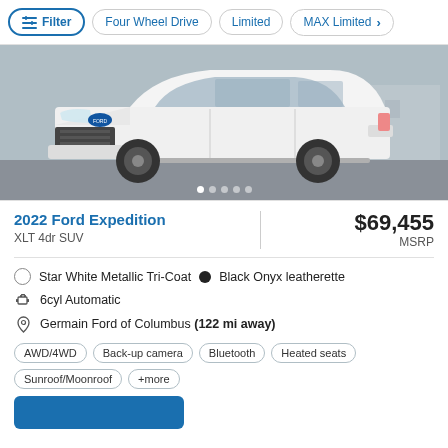Filter | Four Wheel Drive | Limited | MAX Limited
[Figure (photo): White 2022 Ford Expedition SUV on a parking lot background, side-front view. Carousel navigation dots visible at bottom of image.]
2022 Ford Expedition
XLT 4dr SUV
$69,455 MSRP
Star White Metallic Tri-Coat  •  Black Onyx leatherette
6cyl Automatic
Germain Ford of Columbus (122 mi away)
AWD/4WD
Back-up camera
Bluetooth
Heated seats
Sunroof/Moonroof
+more